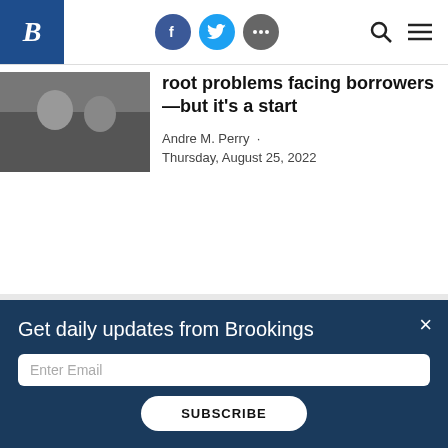Brookings Institution website header with logo, social icons (Facebook, Twitter, more), search and menu icons
[Figure (photo): Partial article thumbnail image showing two people]
root problems facing borrowers —but it's a start
Andre M. Perry  ·  Thursday, August 25, 2022
BROOKINGS
Get daily updates from Brookings
Enter Email
SUBSCRIBE